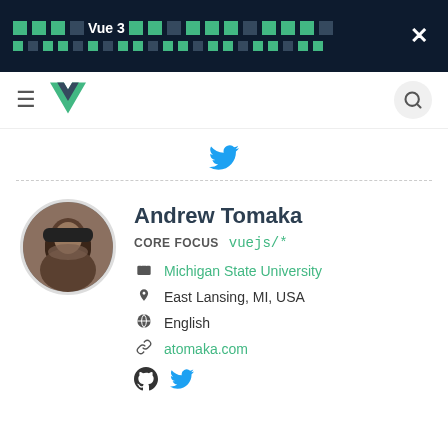[Figure (screenshot): Dark banner with pixel/block decorative elements and 'Vue 3' text in green and white, with a close X button]
[Figure (logo): Vue.js navigation bar with hamburger menu, Vue logo, and search button]
[Figure (illustration): Twitter bird icon in blue]
[Figure (photo): Circular profile photo of Andrew Tomaka]
Andrew Tomaka
CORE FOCUS  vuejs/*
Michigan State University
East Lansing, MI, USA
English
atomaka.com
[Figure (illustration): GitHub and Twitter social icons]